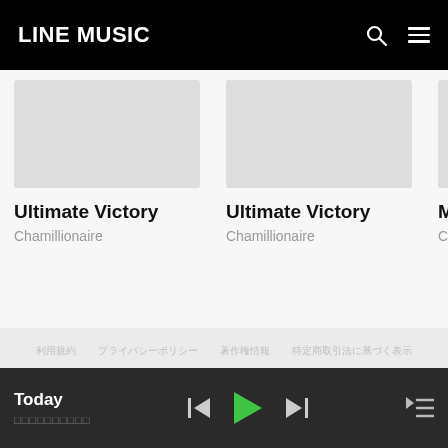LINE MUSIC
Ultimate Victory
Chamillionaire
Ultimate Victory
Chamillionaire
Man On Fi...
Chamillionai...
利用規約　プライバシーポリシー　著作権情報　特定商取引法に基づく表示
© LINE Taiwan Limited.
Today
□□□□□□□□□□